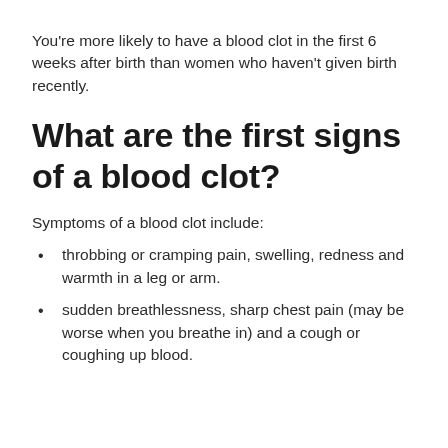You're more likely to have a blood clot in the first 6 weeks after birth than women who haven't given birth recently.
What are the first signs of a blood clot?
Symptoms of a blood clot include:
throbbing or cramping pain, swelling, redness and warmth in a leg or arm.
sudden breathlessness, sharp chest pain (may be worse when you breathe in) and a cough or coughing up blood.